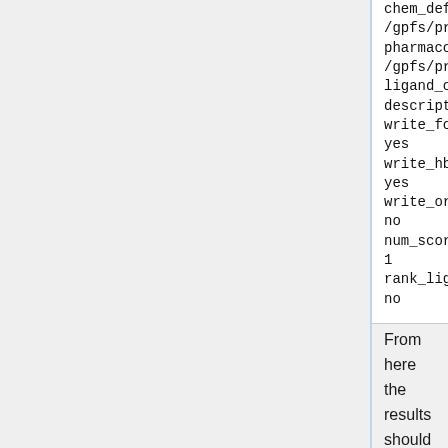chem_defn_file
/gpfs/projects/AMS536/zzz.prog
pharmacore_defn_file
/gpfs/projects/AMS536/zzz.prog
ligand_outfile_prefix
descriptor.output
write_footprints
yes
write_hbonds
yes
write_orientations
no
num_scored_conformers
1
rank_ligands
no
From here the results should be sorted according the score based on the scoring function in question. A script for this can be written fairly quickly in whatever language you are most